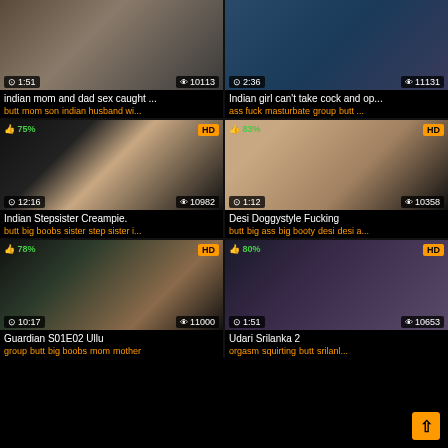[Figure (screenshot): Video thumbnail grid showing 6 video cards in 2 columns, 3 rows. Each card has a thumbnail image with duration, view count, HD badge or like percentage overlaid, plus title and tags below.]
indian mom and dad sex caught ...
butt mom son indian husband wi...
Indian girl can't take cock and op...
ass fuck masturbate group butt ...
Indian Stepsister Creampie.
butt big boobs sister step sister i...
Desi Doggystyle Fucking
butt big ass big booty desi desi a...
Guardian S01E02 Ullu
group butt big boobs mom mother
Udari Srilanka 2
orgasm squirting butt srilanl...